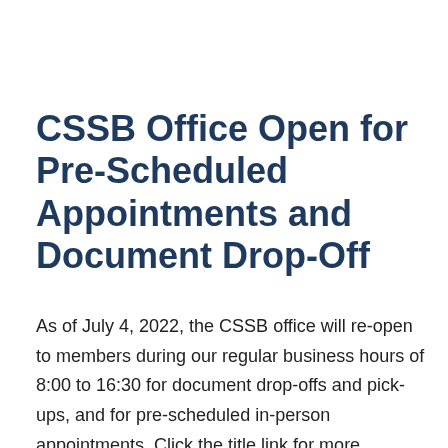CSSB Office Open for Pre-Scheduled Appointments and Document Drop-Off
As of July 4, 2022, the CSSB office will re-open to members during our regular business hours of 8:00 to 16:30 for document drop-offs and pick-ups, and for pre-scheduled in-person appointments. Click the title link for more information. … Read More ›